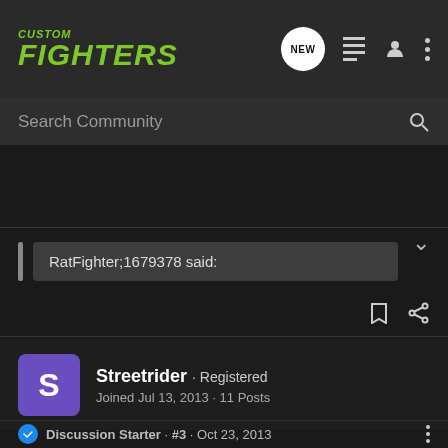CUSTOM FIGHTERS
Search Community
RatFighter;1679378 said:
[Figure (screenshot): User avatar icon with bookmark and share icons]
Streetrider · Registered
Joined Jul 13, 2013 · 11 Posts
Discussion Starter · #3 · Oct 23, 2013
Thanks for the welcome! Sorry that it took me a few days to post a pic but here it is. Got her running today so I can breathe a sigh of relief! Now begins the fun stuff.